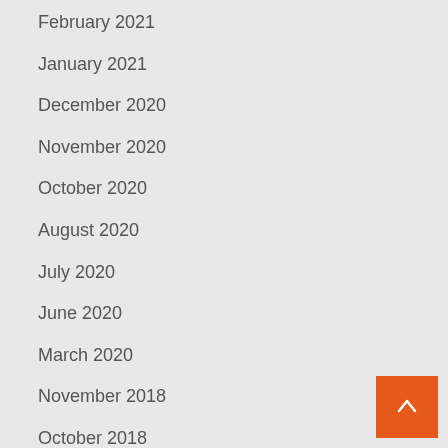February 2021
January 2021
December 2020
November 2020
October 2020
August 2020
July 2020
June 2020
March 2020
November 2018
October 2018
January 2017